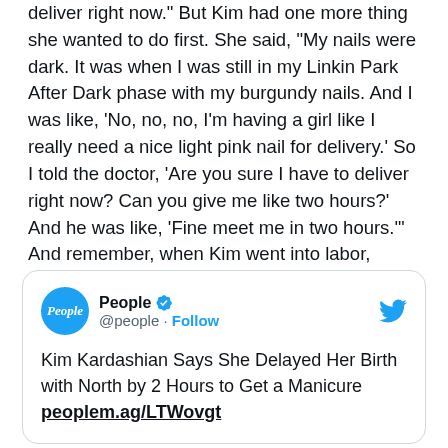be saying, 'Hey, you have preeclampsia and you have to deliver right now.' But Kim had one more thing she wanted to do first. She said, 'My nails were dark. It was when I was still in my Linkin Park After Dark phase with my burgundy nails. And I was like, 'No, no, no, I'm having a girl like I really need a nice light pink nail for delivery.' So I told the doctor, 'Are you sure I have to deliver right now? Can you give me like two hours?' And he was like, 'Fine meet me in two hours.'' And remember, when Kim went into labor, Kanye had gone to Art Basel in Switzerland. But he jumped on a plane and made it back in time for North's birth.
[Figure (screenshot): Tweet from @people (People magazine) with verified badge and Follow button. Tweet text: Kim Kardashian Says She Delayed Her Birth with North by 2 Hours to Get a Manicure peoplem.ag/LTWovgt]